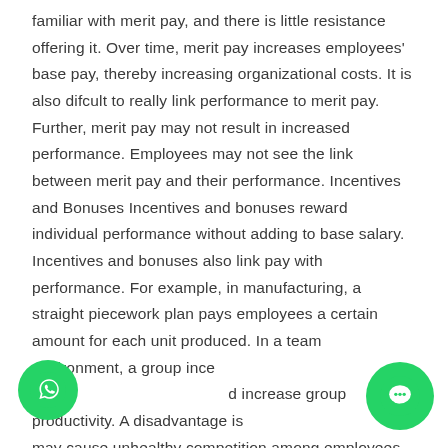familiar with merit pay, and there is little resistance offering it. Over time, merit pay increases employees' base pay, thereby increasing organizational costs. It is also difficult to really link performance to merit pay. Further, merit pay may not result in increased performance. Employees may not see the link between merit pay and their performance. Incentives and Bonuses Incentives and bonuses reward individual performance without adding to base salary. Incentives and bonuses also link pay with performance. For example, in manufacturing, a straight piecework plan pays employees a certain amount for each unit produced. In a team environment, a group incentive can increase group productivity. A disadvantage is it may cause unhealthy competition among employees